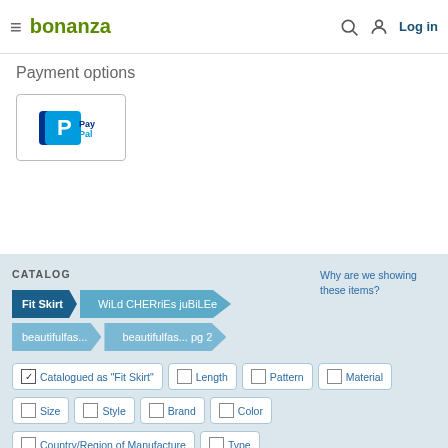bonanza — Log in
Payment options
[Figure (logo): PayPal logo inside a bordered box]
CATALOG
Why are we showing these items?
Fit Skirt > WiLd CHERriEs juBiLEe > beautifulfas... > beautifulfas... pg 2
Catalogued as "Fit Skirt" | Length | Pattern | Material | Size | Style | Brand | Color | Country/Region of Manufacture | Type